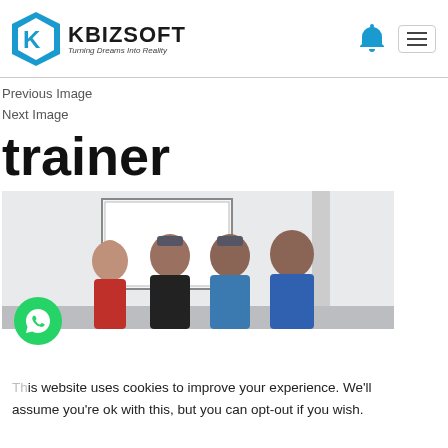KBIZSOFT Turning Dreams Into Reality
Previous Image
Next Image
trainer
[Figure (photo): Group photo of four people standing in front of a whiteboard in a training room. KBizsoft trainer session.]
This website uses cookies to improve your experience. We'll assume you're ok with this, but you can opt-out if you wish.